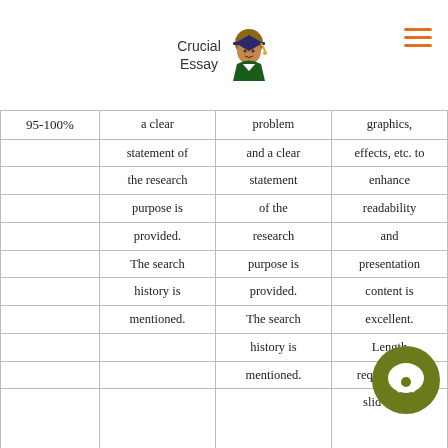Crucial Essay
| 95-100% | a clear | problem | graphics, |
|  | statement of | and a clear | effects, etc. to |
|  | the research | statement | enhance |
|  | purpose is | of the | readability |
|  | provided. | research | and |
|  | The search | purpose is | presentation |
|  | history is | provided. | content is |
|  | mentioned. | The search | excellent. |
|  |  | history is | Length |
|  |  | mentioned. | requirements |
|  |  |  | slid  pages |